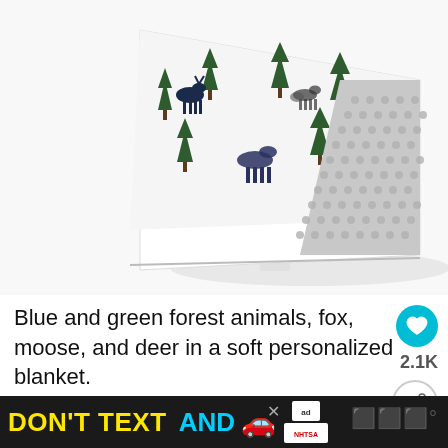[Figure (photo): A folded baby minky blanket with white fabric printed with blue and green forest animals (deer, moose, fox) and pine trees, showing the grey dimple minky dot backing folded over the corner. The blanket is displayed against a white background.]
Blue and green forest animals, fox, moose, and deer in a soft personalized blanket.
2.1K
12. Deer Closet Label for Nursery
[Figure (screenshot): Advertisement banner at bottom of page: 'DON'T TEXT AND' with car emoji and NHTSA ad logo, plus close button and website logo on right side.]